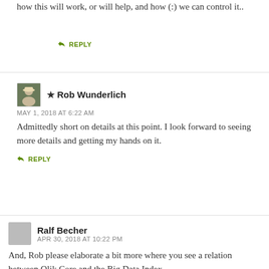how this will work, or will help, and how (:) we can control it..
REPLY
★ Rob Wunderlich
MAY 1, 2018 AT 6:22 AM
Admittedly short on details at this point. I look forward to seeing more details and getting my hands on it.
REPLY
Ralf Becher
APR 30, 2018 AT 10:22 PM
And, Rob please elaborate a bit more where you see a relation between Qlik Core and the Big Data Index.